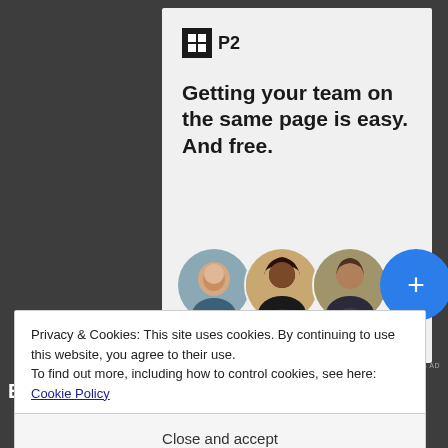[Figure (other): Advertisement card for P2 product. Shows P2 logo (grid icon + P2 text), headline 'Getting your team on the same page is easy. And free.', and three circular avatar photos plus a blue plus button.]
REPORT THIS AD
EMAIL:
Privacy & Cookies: This site uses cookies. By continuing to use this website, you agree to their use.
To find out more, including how to control cookies, see here: Cookie Policy
Close and accept